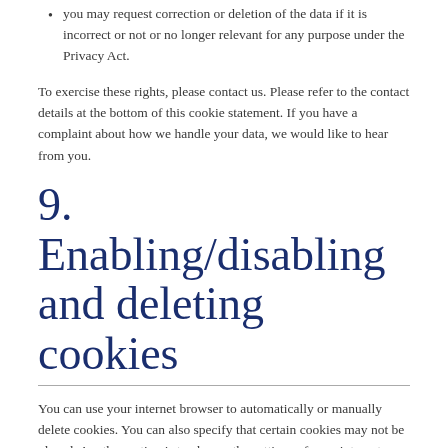you may request correction or deletion of the data if it is incorrect or not or no longer relevant for any purpose under the Privacy Act.
To exercise these rights, please contact us. Please refer to the contact details at the bottom of this cookie statement. If you have a complaint about how we handle your data, we would like to hear from you.
9. Enabling/disabling and deleting cookies
You can use your internet browser to automatically or manually delete cookies. You can also specify that certain cookies may not be placed. Another option is to change the settings of your internet browser so that you receive a message each time a cookie is placed. For more information about these options, please refer to the instructions in the Help section of your browser.